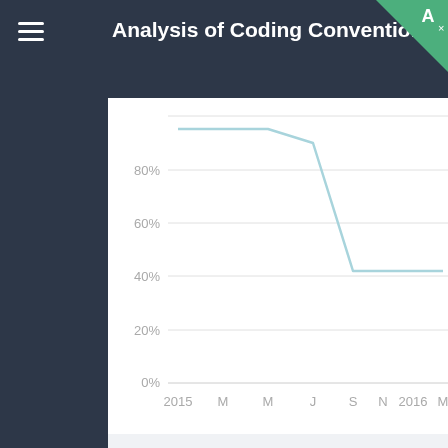Analysis of Coding Conventions for Snap
[Figure (line-chart): ]
Spacing before object operator